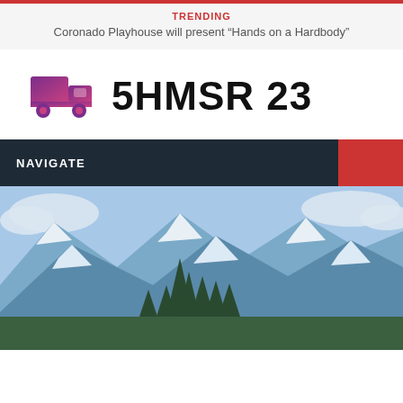TRENDING
Coronado Playhouse will present “Hands on a Hardbody”
[Figure (logo): Delivery truck icon in purple/pink gradient followed by bold text '5HMSR 23' serving as the site logo]
NAVIGATE
[Figure (photo): Snow-capped mountain range with pine trees in the foreground, blue sky with clouds]